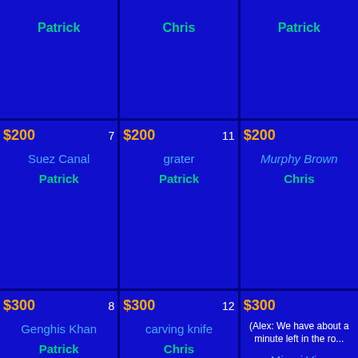| Patrick | Chris | Patrick |
| $200  7
Suez Canal
Patrick | $200  11
grater
Patrick | $200
Murphy Brown
Chris |
| $300  8
Genghis Khan
Patrick | $300  12
carving knife
Chris | $300
(Alex: We have about a minute left in the ro...
Miami Vice
Chris |